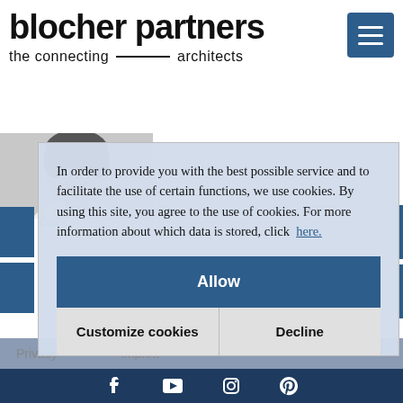blocher partners
the connecting — architects
[Figure (photo): Partial view of a person smiling, visible from top of page behind cookie dialog]
In order to provide you with the best possible service and to facilitate the use of certain functions, we use cookies. By using this site, you agree to the use of cookies. For more information about which data is stored, click here.
Allow
Customize cookies
Decline
Privacy   Imprint